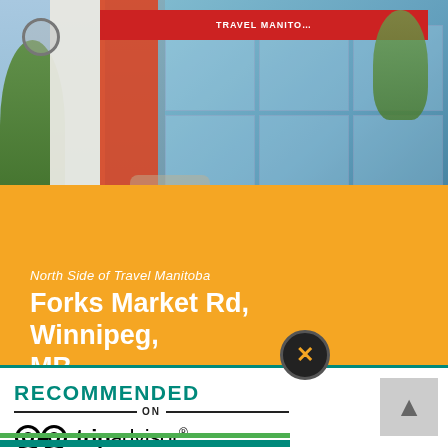[Figure (photo): Exterior photo of Travel Manitoba building, North Side. Red/orange panels and glass facade visible, with trees in foreground and a 'Travel Manitoba' sign.]
North Side of Travel Manitoba
Forks Market Rd, Winnipeg, MB
[Figure (logo): Recommended on TripAdvisor logo badge — green text 'RECOMMENDED ON' with double green lines and TripAdvisor owl logo and wordmark.]
RECOMMENDED ON tripadvisor®